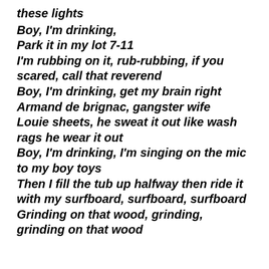these lights
Boy, I'm drinking,
Park it in my lot 7-11
I'm rubbing on it, rub-rubbing, if you scared, call that reverend
Boy, I'm drinking, get my brain right
Armand de brignac, gangster wife
Louie sheets, he sweat it out like wash rags he wear it out
Boy, I'm drinking, I'm singing on the mic to my boy toys
Then I fill the tub up halfway then ride it with my surfboard, surfboard, surfboard
Grinding on that wood, grinding, grinding on that wood